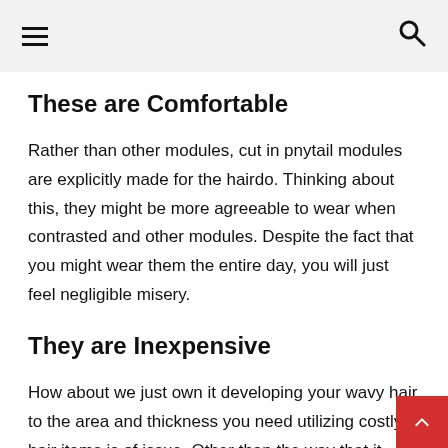☰  🔍
These are Comfortable
Rather than other modules, cut in pnytail modules are explicitly made for the hairdo. Thinking about this, they might be more agreeable to wear when contrasted and other modules. Despite the fact that you might wear them the entire day, you will just feel negligible misery.
They are Inexpensive
How about we just own it developing your wavy hair to the area and thickness you need utilizing costly hair items is of issue. Other than the way that it tends to be pricey, it's likewise very tedious. As opposed to burning throug